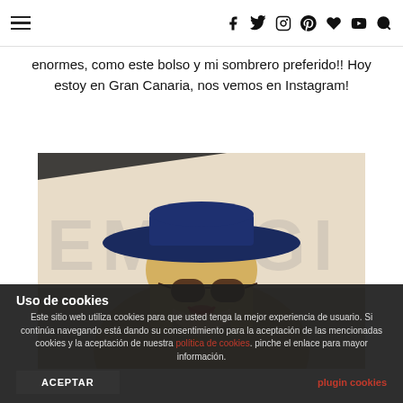Navigation bar with hamburger menu and social icons: f, twitter, instagram, pinterest, heart, youtube, search
enormes, como este bolso y mi sombrero preferido!! Hoy estoy en Gran Canaria, nos vemos en Instagram!
[Figure (photo): Woman wearing a wide-brim navy blue hat and brown sunglasses, smiling, with a tan coat, photographed outdoors in front of a blurred sign background. A dark triangular graphic element appears in the upper-left of the image area.]
Uso de cookies
Este sitio web utiliza cookies para que usted tenga la mejor experiencia de usuario. Si continúa navegando está dando su consentimiento para la aceptación de las mencionadas cookies y la aceptación de nuestra política de cookies. pinche el enlace para mayor información.
ACEPTAR
plugin cookies